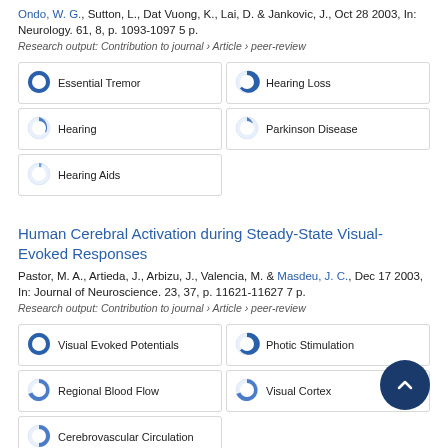Ondo, W. G., Sutton, L., Dat Vuong, K., Lai, D. & Jankovic, J., Oct 28 2003, In: Neurology. 61, 8, p. 1093-1097 5 p.
Research output: Contribution to journal › Article › peer-review
[Figure (infographic): Keyword badges with donut-style percentage icons: Essential Tremor (100%), Hearing Loss (~80%), Hearing (~40%), Parkinson Disease (~25%), Hearing Aids (~15%)]
Human Cerebral Activation during Steady-State Visual-Evoked Responses
Pastor, M. A., Artieda, J., Arbizu, J., Valencia, M. & Masdeu, J. C., Dec 17 2003, In: Journal of Neuroscience. 23, 37, p. 11621-11627 7 p.
Research output: Contribution to journal › Article › peer-review
[Figure (infographic): Keyword badges with donut-style percentage icons: Visual Evoked Potentials (100%), Photic Stimulation (~80%), Regional Blood Flow (~55%), Visual Cortex (~55%), Cerebrovascular Circulation (~50%)]